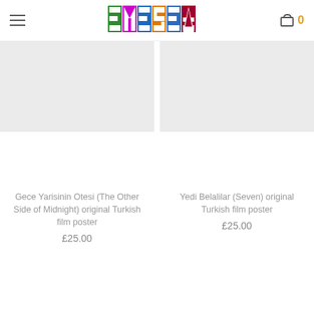EYESEA POSTERS — navigation header with logo and cart
[Figure (logo): EYESEA Posters colorful block logo with rainbow-colored letter tiles]
[Figure (photo): Gray placeholder image for Gece Yarisinin Otesi (The Other Side of Midnight) original Turkish film poster]
Gece Yarisinin Otesi (The Other Side of Midnight) original Turkish film poster
£25.00
[Figure (photo): Gray placeholder image for Yedi Belalilar (Seven) original Turkish film poster]
Yedi Belalilar (Seven) original Turkish film poster
£25.00
[Figure (photo): Movie poster showing Chang Yu, Wang Yu, Chen Song — three martial arts actors side by side]
[Figure (photo): Movie poster showing a figure with flames, marked Out of stock]